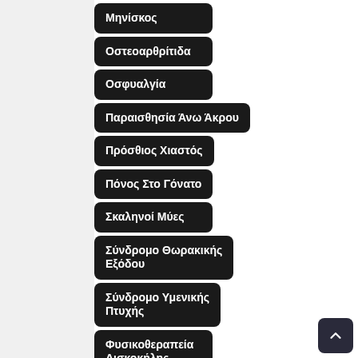Μηνίσκος
Οστεοαρθρίτιδα
Οσφυαλγία
Παραισθησία Άνω Άκρου
Πρόσθιος Χιαστός
Πόνος Στο Γόνατο
Σκαληνοί Μύες
Σύνδρομο Θωρακικής Εξόδου
Σύνδρομο Υμενικής Πτυχής
Φυσικοθεραπεία Δισκοκήλης